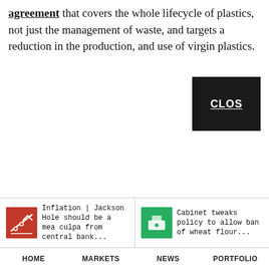agreement that covers the whole lifecycle of plastics, not just the management of waste, and targets a reduction in the production, and use of virgin plastics.
[Figure (other): Dark button partially visible with text 'CLOS' (CLOSE button, cropped at right edge)]
Inflation | Jackson Hole should be a mea culpa from central bankers
Cabinet tweaks policy to allow ban of wheat flour...
HOME   MARKETS   NEWS   PORTFOLIO